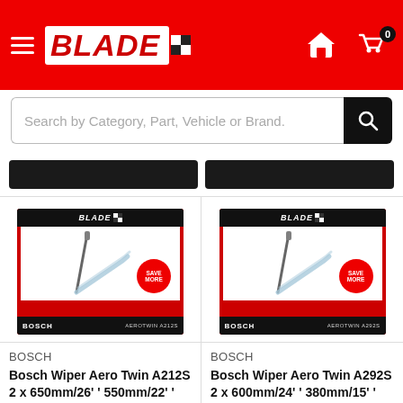[Figure (logo): Blade logo on red header background with hamburger menu, store icon, and cart icon with badge 0]
Search by Category, Part, Vehicle or Brand.
[Figure (photo): Bosch Wiper Aero Twin product image with sale badge, left product]
BOSCH
Bosch Wiper Aero Twin A212S 2 x 650mm/26' ' 550mm/22' ' Set of 2pcs Car Wiper For Chev...
[Figure (photo): Bosch Wiper Aero Twin product image with sale badge, right product]
BOSCH
Bosch Wiper Aero Twin A292S 2 x 600mm/24' ' 380mm/15' ' Set of 2pcs Car Wiper For BMW...